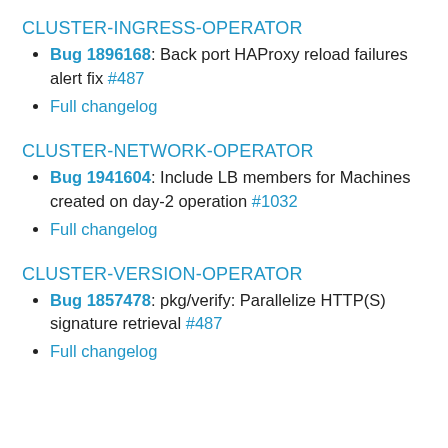CLUSTER-INGRESS-OPERATOR
Bug 1896168: Back port HAProxy reload failures alert fix #487
Full changelog
CLUSTER-NETWORK-OPERATOR
Bug 1941604: Include LB members for Machines created on day-2 operation #1032
Full changelog
CLUSTER-VERSION-OPERATOR
Bug 1857478: pkg/verify: Parallelize HTTP(S) signature retrieval #487
Full changelog